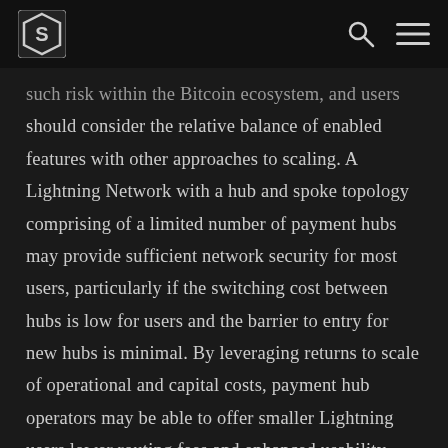[SmartCustody logo] [Search icon] [Menu icon]
such risk within the Bitcoin ecosystem, and users should consider the relative balance of enabled features with other approaches to scaling. A Lightning Network with a hub and spoke topology comprising of a limited number of payment hubs may provide sufficient network security for most users, particularly if the switching cost between hubs is low for users and the barrier to entry for new hubs is minimal. By leveraging returns to scale of operational and capital costs, payment hub operators may be able to offer smaller Lightning users lower routing fees and enhanced usability relative to a more equally distributed network. Such a network would represent a tradeoff of some degree of decentralization for